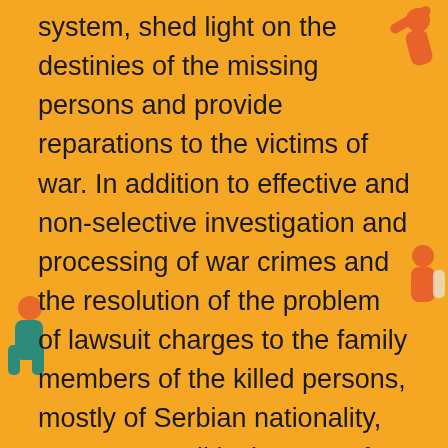system, shed light on the destinies of the missing persons and provide reparations to the victims of war. In addition to effective and non-selective investigation and processing of war crimes and the resolution of the problem of lawsuit charges to the family members of the killed persons, mostly of Serbian nationality, we expect political support for the establishment of the Regional Commission for Determining the Facts on War Crimes and Other Heavy Breaches of Human Rights (REKOM).
There is insufficient progress in respect to the